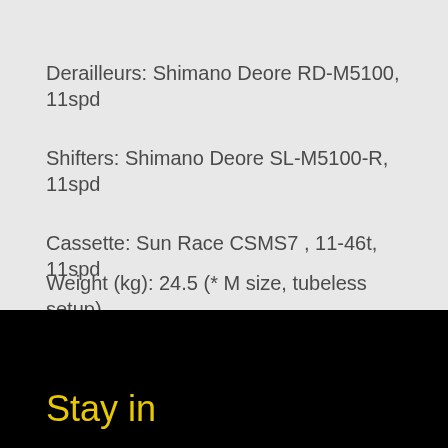Derailleurs: Shimano Deore RD-M5100, 11spd
Shifters: Shimano Deore SL-M5100-R, 11spd
Cassette: Sun Race CSMS7 , 11-46t, 11spd
Weight (kg): 24.5 (* M size, tubeless setup)
Stay in